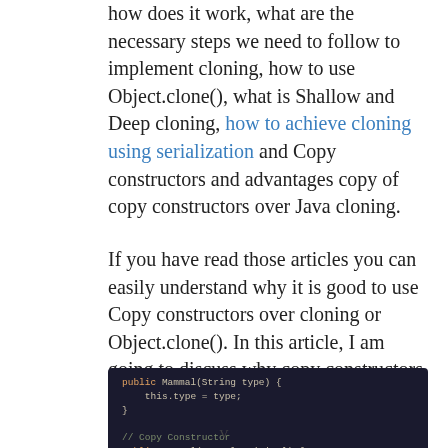how does it work, what are the necessary steps we need to follow to implement cloning, how to use Object.clone(), what is Shallow and Deep cloning, how to achieve cloning using serialization and Copy constructors and advantages copy of copy constructors over Java cloning.
If you have read those articles you can easily understand why it is good to use Copy constructors over cloning or Object.clone(). In this article, I am going to discuss why copy constructors are not sufficient?
[Figure (screenshot): Dark-themed code editor showing Java code: public Mammal(String type) { this.type = type; } // Copy Constructor public Mammal(Mammal original) { this.type = original.type;]
V